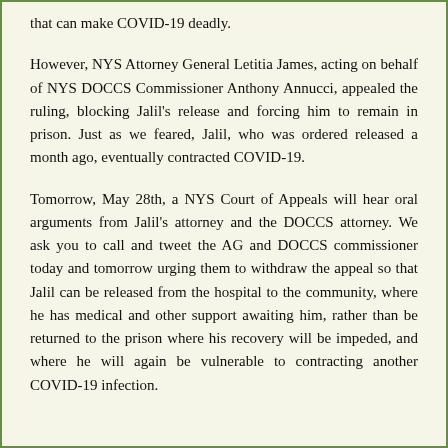that can make COVID-19 deadly.
However, NYS Attorney General Letitia James, acting on behalf of NYS DOCCS Commissioner Anthony Annucci, appealed the ruling, blocking Jalil's release and forcing him to remain in prison. Just as we feared, Jalil, who was ordered released a month ago, eventually contracted COVID-19.
Tomorrow, May 28th, a NYS Court of Appeals will hear oral arguments from Jalil's attorney and the DOCCS attorney. We ask you to call and tweet the AG and DOCCS commissioner today and tomorrow urging them to withdraw the appeal so that Jalil can be released from the hospital to the community, where he has medical and other support awaiting him, rather than be returned to the prison where his recovery will be impeded, and where he will again be vulnerable to contracting another COVID-19 infection.